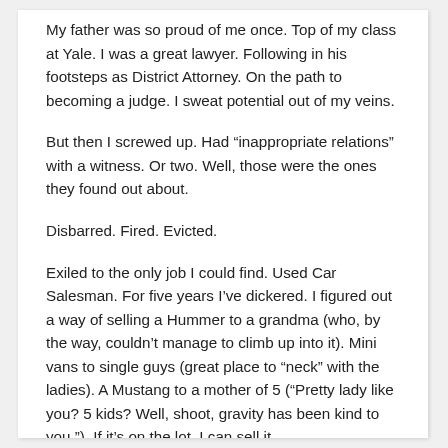My father was so proud of me once. Top of my class at Yale. I was a great lawyer. Following in his footsteps as District Attorney. On the path to becoming a judge. I sweat potential out of my veins.
But then I screwed up. Had “inappropriate relations” with a witness. Or two. Well, those were the ones they found out about.
Disbarred. Fired. Evicted.
Exiled to the only job I could find. Used Car Salesman. For five years I’ve dickered. I figured out a way of selling a Hummer to a grandma (who, by the way, couldn’t manage to climb up into it). Mini vans to single guys (great place to “neck” with the ladies). A Mustang to a mother of 5 (“Pretty lady like you? 5 kids? Well, shoot, gravity has been kind to you.”). If it’s on the lot, I can sell it.